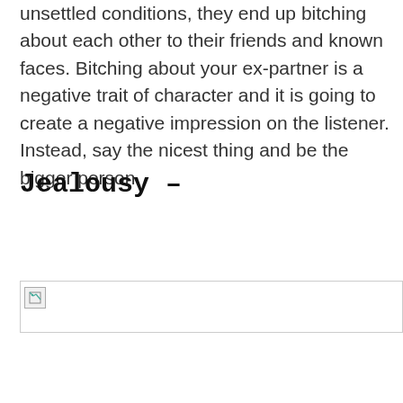unsettled conditions, they end up bitching about each other to their friends and known faces. Bitching about your ex-partner is a negative trait of character and it is going to create a negative impression on the listener. Instead, say the nicest thing and be the bigger person.
Jealousy –
[Figure (photo): Broken image placeholder with small icon in top-left corner]